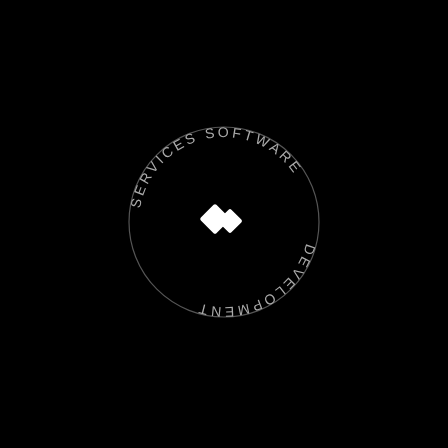[Figure (logo): Circular logo on black background. Text 'SERVICES SOFTWARE DEVELOPMENT' arranged in a circle. In the center is a small white geometric icon made of overlapping diamond/square shapes. The circular text is rendered in gray/light color against the black background, with the top half reading 'SERVICES SOFTWARE' and the bottom half reading 'DEVELOPMENT' (inverted/upside down).]